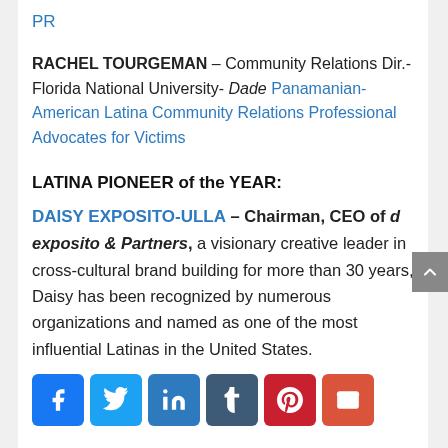PR
RACHEL TOURGEMAN – Community Relations Dir.- Florida National University- Dade Panamanian-American Latina Community Relations Professional Advocates for Victims
LATINA PIONEER of the YEAR:
DAISY EXPOSITO-ULLA – Chairman, CEO of d exposito & Partners, a visionary creative leader in cross-cultural brand building for more than 30 years, Daisy has been recognized by numerous organizations and named as one of the most influential Latinas in the United States.